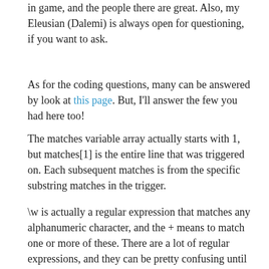in game, and the people there are great. Also, my Eleusian (Dalemi) is always open for questioning, if you want to ask.
As for the coding questions, many can be answered by look at this page. But, I'll answer the few you had here too!
The matches variable array actually starts with 1, but matches[1] is the entire line that was triggered on. Each subsequent matches is from the specific substring matches in the trigger.
\w is actually a regular expression that matches any alphanumeric character, and the + means to match one or more of these. There are a lot of regular expressions, and they can be pretty confusing until you get used to them. I like to use this cheat sheet. Also, you can use this site to test your trigger lines. Put the trigger in the top box, and the line you're trying to match in the bottom. If it works, the strings matched will be highlighted. I use it all the time for the more complicated